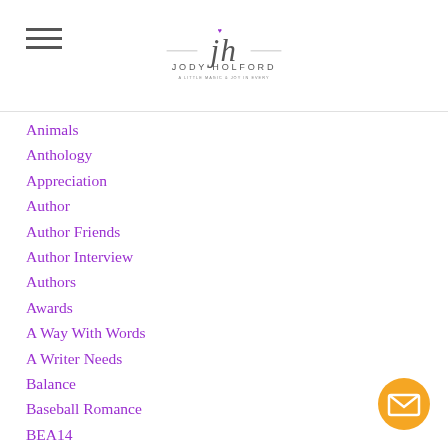Jody Holford — site logo and navigation
Animals
Anthology
Appreciation
Author
Author Friends
Author Interview
Authors
Awards
A Way With Words
A Writer Needs
Balance
Baseball Romance
BEA14
Becky Albertalli
Behind The Scenes
Belief
Be Yourself
[Figure (illustration): Orange circular email/envelope button in bottom right corner]